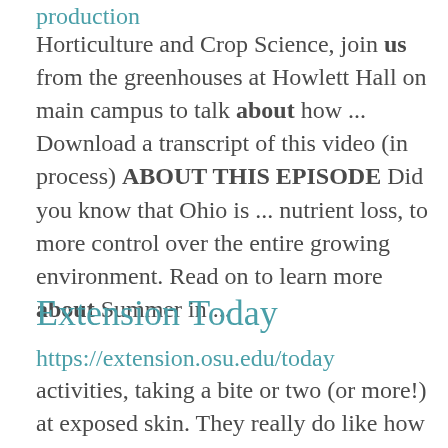production
Horticulture and Crop Science, join us from the greenhouses at Howlett Hall on main campus to talk about how ... Download a transcript of this video (in process) ABOUT THIS EPISODE Did you know that Ohio is ... nutrient loss, to more control over the entire growing environment. Read on to learn more about Summer in ...
Extension Today
https://extension.osu.edu/today
activities, taking a bite or two (or more!) at exposed skin. They really do like how some of us smell! Besides ... State